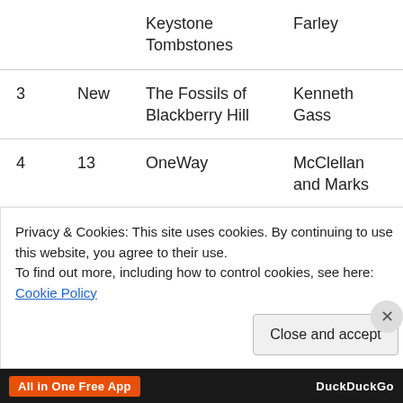| # | Wks | Title | Author | Genre |
| --- | --- | --- | --- | --- |
|  |  | Keystone Tombstones | Farley |  |
| 3 | New | The Fossils of Blackberry Hill | Kenneth Gass | Paleontology |
| 4 | 13 | OneWay | McClellan and Marks | Visionary Fiction |
| 5 | New | Rising Sun | Wade | Thriller |
Privacy & Cookies: This site uses cookies. By continuing to use this website, you agree to their use.
To find out more, including how to control cookies, see here: Cookie Policy
Close and accept